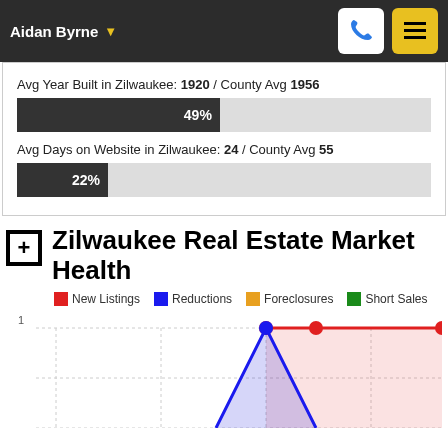Aidan Byrne
Avg Year Built in Zilwaukee: 1920 / County Avg 1956
[Figure (infographic): Horizontal progress bar showing 49%]
Avg Days on Website in Zilwaukee: 24 / County Avg 55
[Figure (infographic): Horizontal progress bar showing 22%]
Zilwaukee Real Estate Market Health
New Listings  Reductions  Foreclosures  Short Sales
[Figure (line-chart): Line chart showing New Listings, Reductions, Foreclosures, Short Sales over time. Y-axis starts at 1. Blue and red lines visible at top of chart with filled area below.]